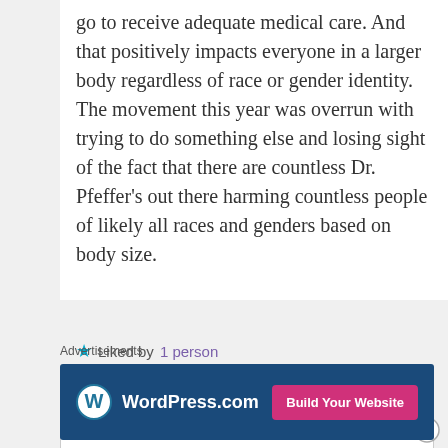go to receive adequate medical care. And that positively impacts everyone in a larger body regardless of race or gender identity. The movement this year was overrun with trying to do something else and losing sight of the fact that there are countless Dr. Pfeffer's out there harming countless people of likely all races and genders based on body size.
★ Liked by 1 person
↪ Reply
Advertisements
[Figure (other): WordPress.com advertisement banner with logo and 'Build Your Website' button]